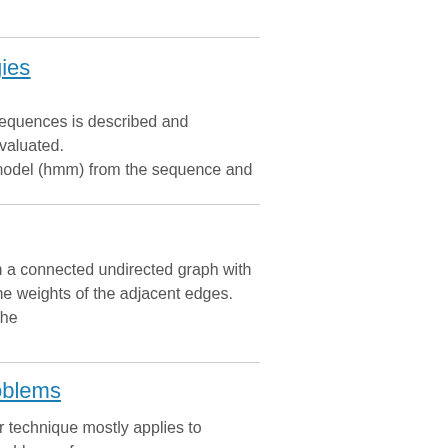gies
sequences is described and evaluated. model (hmm) from the sequence and
oblems
ur technique mostly applies to problems of ertain requirements. In particular, many
in a connected undirected graph with the weights of the adjacent edges. The